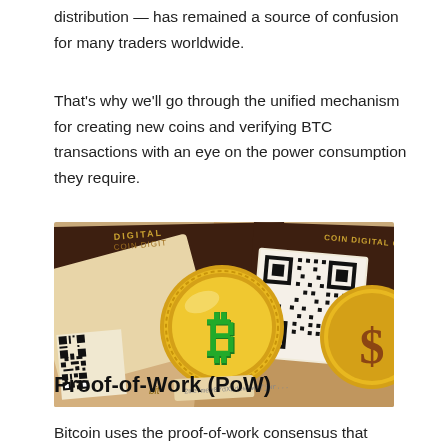distribution — has remained a source of confusion for many traders worldwide.
That's why we'll go through the unified mechanism for creating new coins and verifying BTC transactions with an eye on the power consumption they require.
[Figure (photo): A gold Bitcoin coin with a green Bitcoin logo symbol, surrounded by paper Bitcoin cards showing QR codes and text reading 'bitcoin', 'DIGITAL', 'COIN DIGITAL CRY', arranged on a surface.]
Proof-of-Work (PoW)
Bitcoin uses the proof-of-work consensus that serves for...